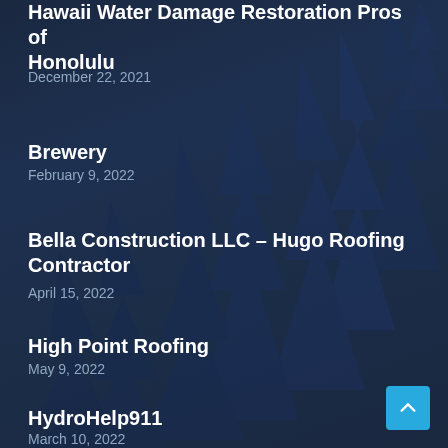Hawaii Water Damage Restoration Pros of Honolulu
December 22, 2021
Brewery
February 9, 2022
Bella Construction LLC – Hugo Roofing Contractor
April 15, 2022
High Point Roofing
May 9, 2022
HydroHelp911
March 10, 2022